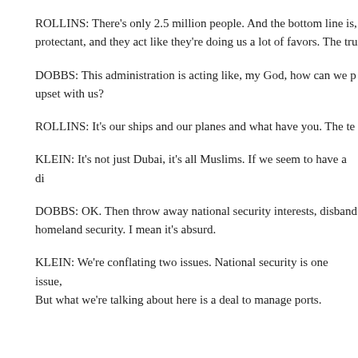ROLLINS: There's only 2.5 million people. And the bottom line is, protectant, and they act like they're doing us a lot of favors. The tru
DOBBS: This administration is acting like, my God, how can we p upset with us?
ROLLINS: It's our ships and our planes and what have you. The te
KLEIN: It's not just Dubai, it's all Muslims. If we seem to have a di
DOBBS: OK. Then throw away national security interests, disband homeland security. I mean it's absurd.
KLEIN: We're conflating two issues. National security is one issue, But what we're talking about here is a deal to manage ports.